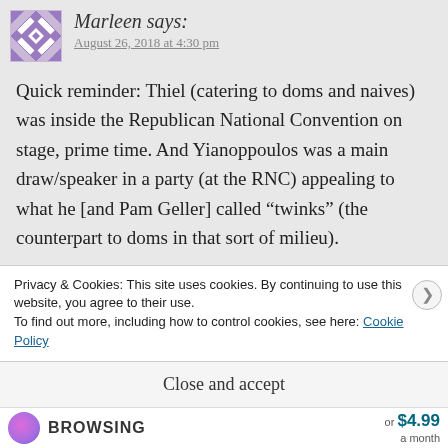[Figure (illustration): Purple and white geometric quilt-pattern avatar icon]
Marleen says:
August 26, 2018 at 4:30 pm
Quick reminder: Thiel (catering to doms and naives) was inside the Republican National Convention on stage, prime time. And Yianoppoulos was a main draw/speaker in a party (at the RNC) appealing to what he [and Pam Geller] called “twinks” (the counterpart to doms in that sort of milieu).
Privacy & Cookies: This site uses cookies. By continuing to use this website, you agree to their use.
To find out more, including how to control cookies, see here: Cookie Policy
Close and accept
BROWSING